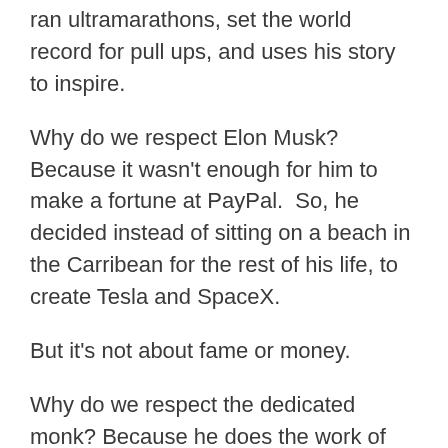ran ultramarathons, set the world record for pull ups, and uses his story to inspire.
Why do we respect Elon Musk? Because it wasn't enough for him to make a fortune at PayPal.  So, he decided instead of sitting on a beach in the Carribean for the rest of his life, to create Tesla and SpaceX.
But it's not about fame or money.
Why do we respect the dedicated monk? Because he does the work of meditation.
Why do respect the kid who's in his fourth month at the gym? Because he's lifting the weights.